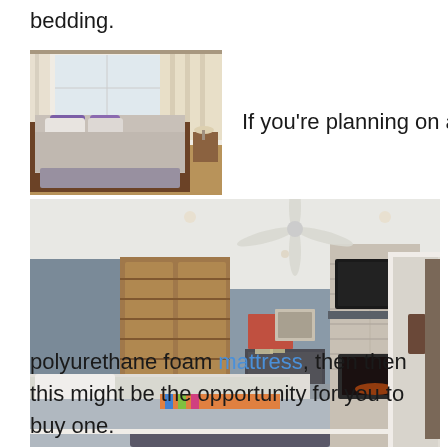bedding.
[Figure (photo): Bedroom with a neatly made bed with purple pillows, white curtains, and a dark rug on hardwood floor]
If you’re planning on a
[Figure (photo): Modern master bedroom interior with ceiling fan, stone fireplace wall with TV mounted above, a bed with gray bedding and white pillows, wooden wardrobe, and an open bathroom door]
polyurethane foam mattress, then then this might be the opportunity for you to buy one.